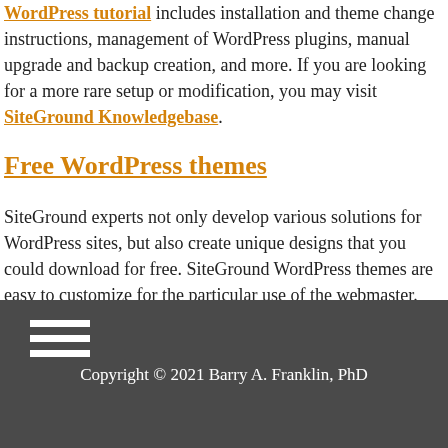WordPress tutorial includes installation and theme change instructions, management of WordPress plugins, manual upgrade and backup creation, and more. If you are looking for a more rare setup or modification, you may visit SiteGround Knowledgebase.
Free WordPress themes
SiteGround experts not only develop various solutions for WordPress sites, but also create unique designs that you could download for free. SiteGround WordPress themes are easy to customize for the particular use of the webmaster.
Copyright © 2021 Barry A. Franklin, PhD